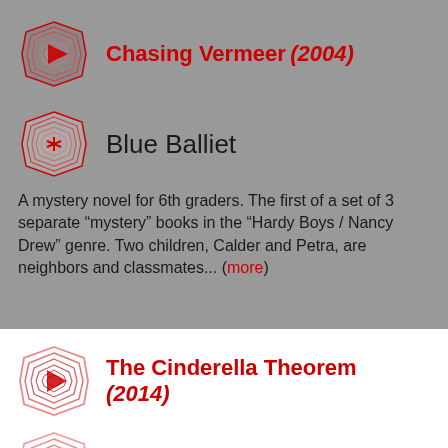Chasing Vermeer (2004)
Blue Balliet
A mystery novel for 6th graders. The first of a set of 3 separate “mystery” books in the “Hardy Boys / Nancy Drew” genre. Two children, Calder and Petra, are neighbors and classmates... (more)
The Cinderella Theorem (2014)
Kristee Ravan
A very serious, mathematically inclined teenage girl is shocked to learn that her father is not dead, as she had previously...